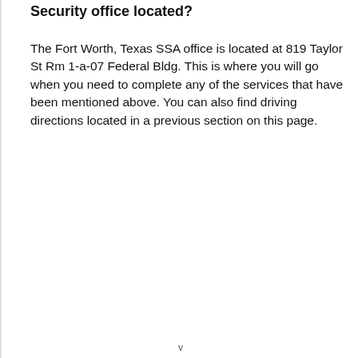Security office located?
The Fort Worth, Texas SSA office is located at 819 Taylor St Rm 1-a-07 Federal Bldg. This is where you will go when you need to complete any of the services that have been mentioned above. You can also find driving directions located in a previous section on this page.
v